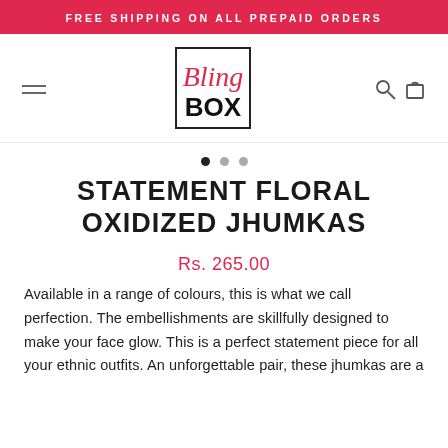FREE SHIPPING ON ALL PREPAID ORDERS
[Figure (logo): Bling Box logo — stylized script 'Bling' in pink and bold 'BOX' in black, inside a rectangular border]
STATEMENT FLORAL OXIDIZED JHUMKAS
Rs. 265.00
Available in a range of colours, this is what we call perfection. The embellishments are skillfully designed to make your face glow. This is a perfect statement piece for all your ethnic outfits. An unforgettable pair, these jhumkas are a